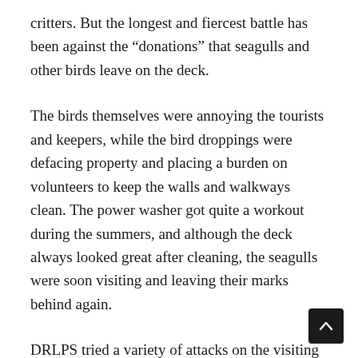critters. But the longest and fiercest battle has been against the “donations” that seagulls and other birds leave on the deck.
The birds themselves were annoying the tourists and keepers, while the bird droppings were defacing property and placing a burden on volunteers to keep the walls and walkways clean. The power washer got quite a workout during the summers, and although the deck always looked great after cleaning, the seagulls were soon visiting and leaving their marks behind again.
DRLPS tried a variety of attacks on the visiting seagulls—including rubber snakes—without success. In the summer of 2010, property managers decided to invest in a bird control solution from Bird-X.